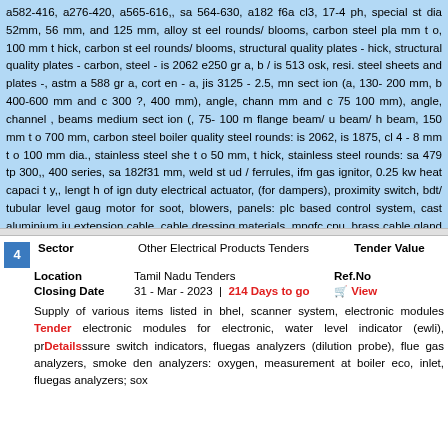a582-416, a276-420, a565-616,, sa 564-630, a182 f6a cl3, 17-4 ph, special st dia 52mm, 56 mm, and 125 mm, alloy st eel rounds/ blooms, carbon steel pla mm t o, 100 mm t hick, carbon st eel rounds/ blooms, structural quality plates - hick, structural quality plates - carbon, steel - is 2062 e250 gr a, b / is 513 osk, resi. steel sheets and plates -, astm a 588 gr a, cort en - a, jis 3125 - 2.5, mn sect ion (a, 130- 200 mm, b 400-600 mm and c 300 ?, 400 mm), angle, chann mm and c 75 100 mm), angle, channel , beams medium sect ion (, 75- 100 m flange beam/ u beam/ h beam, 150 mm t o 700 mm, carbon steel boiler quality steel rounds: is 2062, is 1875, cl 4 - 8 mm t o 100 mm dia., stainless steel she t o 50 mm, t hick, stainless steel rounds: sa 479 tp 300,, 400 series, sa 182f31 mm, weld st ud / ferrules, ifm gas ignitor, 0.25 kw heat capaci t y,, lengt h of ign duty electrical actuator, (for dampers), proximity switch, bdt/ tubular level gaug motor for soot, blowers, panels: plc based control system, cast aluminium ju extension cable, cable dressing materials, mpgfc cpu, brass cable gland an cable tray, cable tags, pvc insulated copper control cable, (frls), pvc insulat junction box, flame scanner head assy (safe flame), flame scanner cable
| # | Sector | Tender Value | Location | Ref.No | Closing Date | Description |
| --- | --- | --- | --- | --- | --- | --- |
| 4 | Other Electrical Products Tenders |  | Tamil Nadu Tenders |  | 31 - Mar - 2023 | 214 Days to go | Supply of various items listed in bhel, scanner system, electronic modules electronic modules for electronic, water level indicator (ewli), pressure switch indicators, fluegas analyzers (dilution probe), flue gas analyzers, smoke den analyzers: oxygen, measurement at boiler eco, inlet, fluegas analyzers: sox |